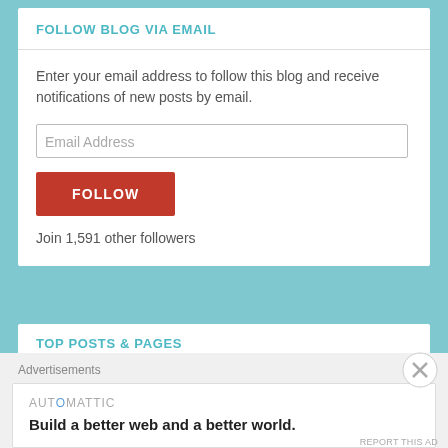FOLLOW BLOG VIA EMAIL
Enter your email address to follow this blog and receive notifications of new posts by email.
Email Address
FOLLOW
Join 1,591 other followers
TOP POSTS & PAGES
Is "saudade" really untranslatable?
Advertisements
AUTOMATTIC
Build a better web and a better world.
REPORT THIS AD